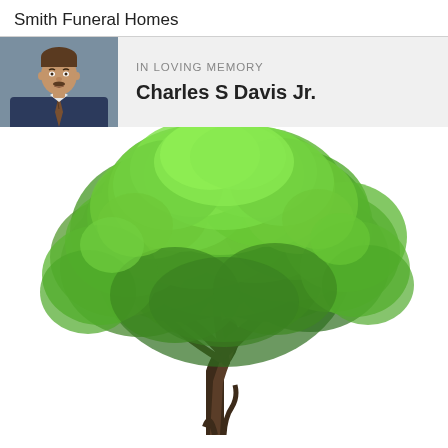Smith Funeral Homes
IN LOVING MEMORY
Charles S Davis Jr.
[Figure (photo): Portrait photo of Charles S Davis Jr., a middle-aged man in a suit with a tie, against a blue-grey background]
[Figure (illustration): Large green deciduous tree with full leafy canopy on a white background, photographed or illustrated in isolation with visible trunk and branches]